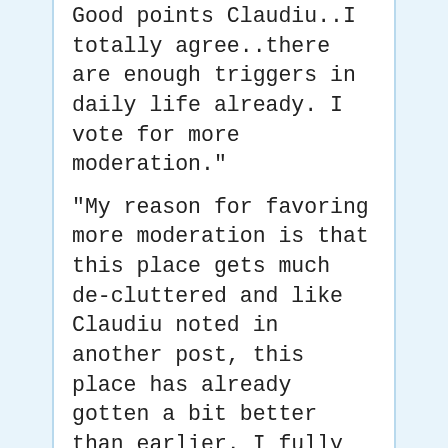Good points Claudiu..I totally agree..there are enough triggers in daily life already. I vote for more moderation."
"My reason for favoring more moderation is that this place gets much de-cluttered and like Claudiu noted in another post, this place has already gotten a bit better than earlier. I fully endorse this move."
"I retract my accusation of you being an unfit moderator this cannot be substantiated sufficiently"
"From my perspective, it's simply